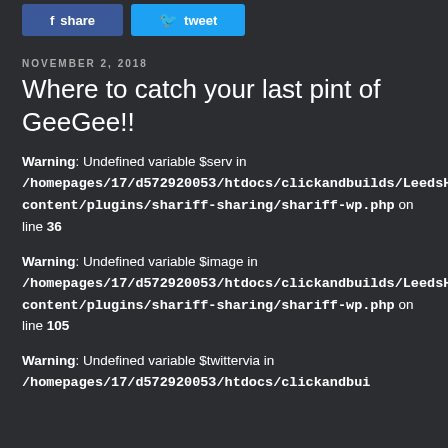[Figure (other): Share and Tweet buttons at top of page]
NOVEMBER 2, 2018
Where to catch your last pint of GeeGee!!
Warning: Undefined variable $serv in /homepages/17/d572920053/htdocs/clickandbuilds/LeedsHops/wp-content/plugins/shariff-sharing/shariff-wp.php on line 36
Warning: Undefined variable $image in /homepages/17/d572920053/htdocs/clickandbuilds/LeedsHops/wp-content/plugins/shariff-sharing/shariff-wp.php on line 105
Warning: Undefined variable $twittervia in /homepages/17/d572920053/htdocs/clickandbui